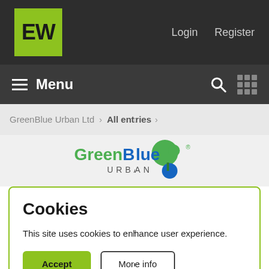EW | Login  Register
≡ Menu | Search | Grid
GreenBlue Urban Ltd > All entries >
[Figure (logo): GreenBlue Urban logo with green and blue tree/sphere icons and text 'GreenBlue URBAN']
Cookies
This site uses cookies to enhance user experience.
Accept  More info
Public realm (6)